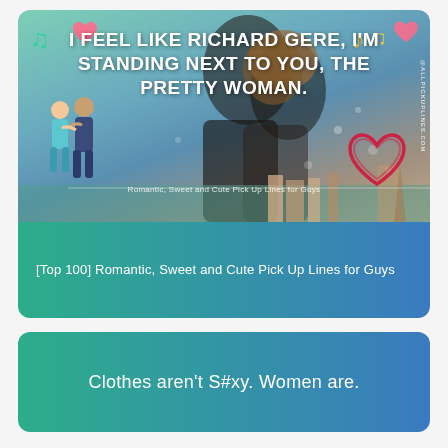[Figure (illustration): Card with romantic photo of couple kissing overlaid with quote text 'I FEEL LIKE RICHARD GERE, I'M STANDING NEXT TO YOU, THE PRETTY WOMAN.' Decorative elements include music notes, hearts, cartoon couple figure, and heart sketch. Watermark @ALLPICKUPLINES.COM on right side. Bottom text: Romantic, Sweet and Cute Pick Up Lines for Guys. Caption below: [Top 100] Romantic, Sweet and Cute Pick Up Lines for Guys]
[Top 100] Romantic, Sweet and Cute Pick Up Lines for Guys
[Figure (illustration): Teal to blue gradient card with white text: Clothes aren't S#xy. Women are.]
Clothes aren't S#xy. Women are.